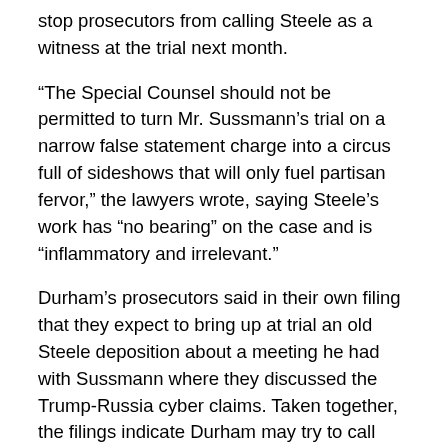stop prosecutors from calling Steele as a witness at the trial next month.
“The Special Counsel should not be permitted to turn Mr. Sussmann’s trial on a narrow false statement charge into a circus full of sideshows that will only fuel partisan fervor,” the lawyers wrote, saying Steele’s work has “no bearing” on the case and is “inflammatory and irrelevant.”
Durham’s prosecutors said in their own filing that they expect to bring up at trial an old Steele deposition about a meeting he had with Sussmann where they discussed the Trump-Russia cyber claims. Taken together, the filings indicate Durham may try to call Steele as a witness.
It’s ultimately up to Judge Christopher Cooper of the DC District Court to decide how much information about Steele can come up at trial. He is also reviewing a motion from Sussmann to throw out the indictment altogether.